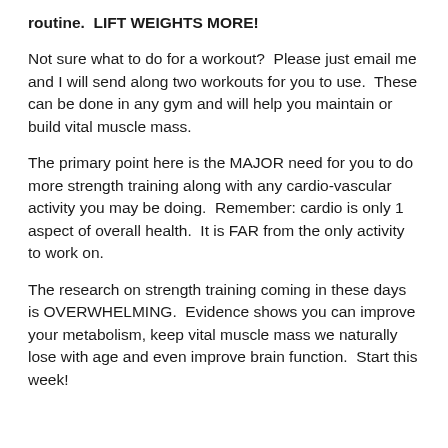routine.  LIFT WEIGHTS MORE!
Not sure what to do for a workout?  Please just email me and I will send along two workouts for you to use.  These can be done in any gym and will help you maintain or build vital muscle mass.
The primary point here is the MAJOR need for you to do more strength training along with any cardio-vascular activity you may be doing.  Remember: cardio is only 1 aspect of overall health.  It is FAR from the only activity to work on.
The research on strength training coming in these days is OVERWHELMING.  Evidence shows you can improve your metabolism, keep vital muscle mass we naturally lose with age and even improve brain function.  Start this week!